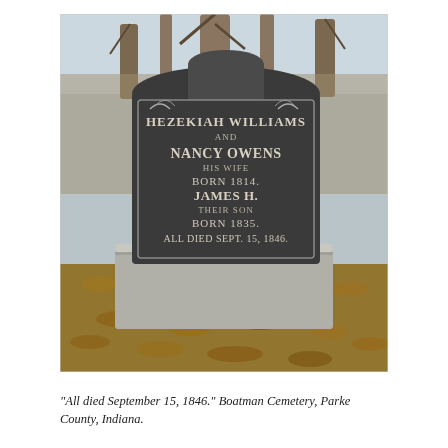[Figure (photo): Photograph of a dark granite gravestone on a concrete base in a cemetery. The stone is engraved with: HEZEKIAH WILLIAMS AND NANCY OWENS HIS WIFE BORN 1814. JAMES H. THEIR SON BORN 1835. ALL DIED SEPT. 15, 1846. Fallen leaves cover the ground around the base. Bare trees are visible in the background.]
"All died September 15, 1846." Boatman Cemetery, Parke County, Indiana.